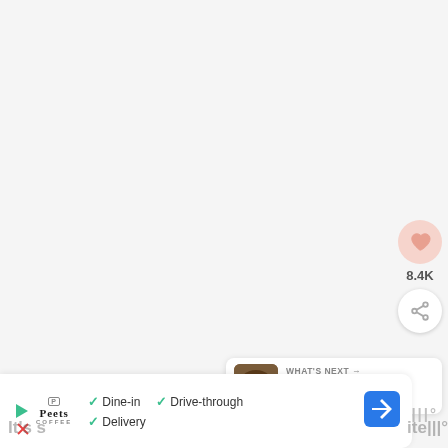[Figure (screenshot): App screenshot: light gray background main content area with social action buttons (heart/like showing 8.4K, share), a 'What's Next' card showing 'Chocolate Maple Baco...' with thumbnail, a watermark/brand icon, and a Peet's Coffee advertisement banner at the bottom showing Dine-in, Drive-through, and Delivery options with a navigation icon.]
8.4K
WHAT'S NEXT →
Chocolate Maple Baco...
Dine-in   Drive-through
Delivery